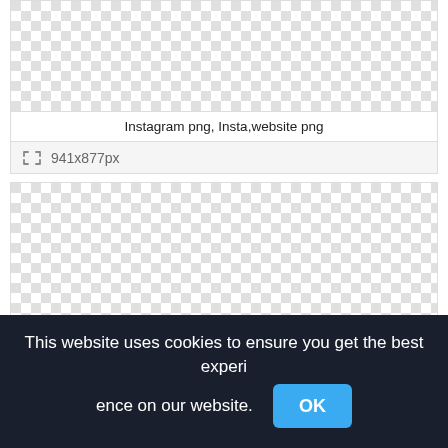[Figure (screenshot): Checkered transparency pattern representing a PNG image placeholder]
Instagram png, Insta,website png
941x877px
[Figure (screenshot): Second checkered transparency pattern representing another PNG image placeholder]
This website uses cookies to ensure you get the best experience on our website.